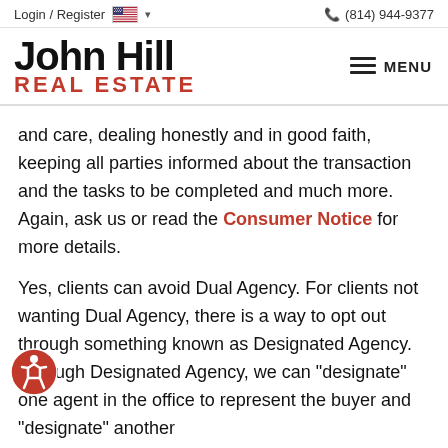Login / Register | (814) 944-9377
John Hill REAL ESTATE
and care, dealing honestly and in good faith, keeping all parties informed about the transaction and the tasks to be completed and much more. Again, ask us or read the Consumer Notice for more details.
Yes, clients can avoid Dual Agency. For clients not wanting Dual Agency, there is a way to opt out through something known as Designated Agency. Through Designated Agency, we can "designate" one agent in the office to represent the buyer and "designate" another to represent the seller. That way, both parties have equal representation. There are other conditions